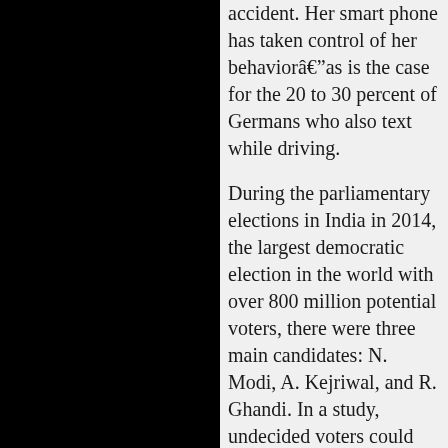accident. Her smart phone has taken control of her behaviorâas is the case for the 20 to 30 percent of Germans who also text while driving.
During the parliamentary elections in India in 2014, the largest democratic election in the world with over 800 million potential voters, there were three main candidates: N. Modi, A. Kejriwal, and R. Ghandi. In a study, undecided voters could find out more information about these candidates using an Internet search engine. However, the participants did not know that the web pages had been manipulated: For one group, more positive